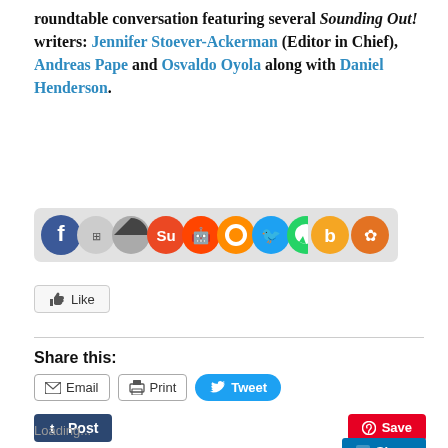roundtable conversation featuring several Sounding Out! writers: Jennifer Stoever-Ackerman (Editor in Chief), Andreas Pape and Osvaldo Oyola along with Daniel Henderson.
[Figure (other): Row of social sharing icon buttons (Facebook, share, Digg, StumbleUpon, Reddit, Netvibes, Twitter/bird, WhatsApp, Buzz, Yummly) on a gray rounded bar]
[Figure (other): Facebook Like button with thumbs-up icon]
Share this:
[Figure (other): Share buttons row: Email, Print, Tweet, Post (Tumblr), Save (Pinterest), Share (LinkedIn)]
Loading...